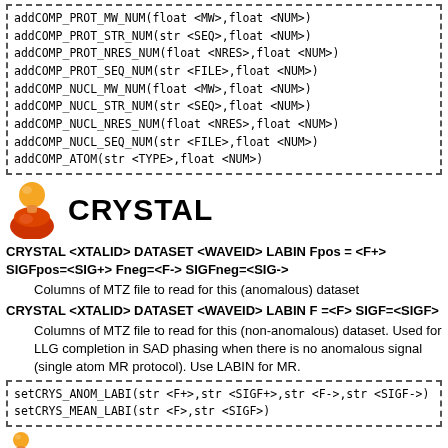addCOMP_PROT_MW_NUM(float <MW>,float <NUM>)
addCOMP_PROT_STR_NUM(str <SEQ>,float <NUM>)
addCOMP_PROT_NRES_NUM(float <NRES>,float <NUM>)
addCOMP_PROT_SEQ_NUM(str <FILE>,float <NUM>)
addCOMP_NUCL_MW_NUM(float <MW>,float <NUM>)
addCOMP_NUCL_STR_NUM(str <SEQ>,float <NUM>)
addCOMP_NUCL_NRES_NUM(float <NRES>,float <NUM>)
addCOMP_NUCL_SEQ_NUM(str <FILE>,float <NUM>)
addCOMP_ATOM(str <TYPE>,float <NUM>)
CRYSTAL
CRYSTAL <XTALID> DATASET <WAVEID> LABIN Fpos = <F+> SIGFpos=<SIG+> Fneg=<F-> SIGFneg=<SIG->
Columns of MTZ file to read for this (anomalous) dataset
CRYSTAL <XTALID> DATASET <WAVEID> LABIN F =<F> SIGF=<SIGF>
Columns of MTZ file to read for this (non-anomalous) dataset. Used for LLG completion in SAD phasing when there is no anomalous signal (single atom MR protocol). Use LABIN for MR.
setCRYS_ANOM_LABI(str <F+>,str <SIGF+>,str <F->,str <SIGF->)
setCRYS_MEAN_LABI(str <F>,str <SIGF>)